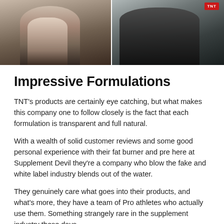[Figure (photo): Two fitness/bodybuilding photos side by side: left shows a tattooed shirtless athlete posing, right shows a muscular athlete in a TNT branded black shirt in a gym setting.]
Impressive Formulations
TNT's products are certainly eye catching, but what makes this company one to follow closely is the fact that each formulation is transparent and full natural.
With a wealth of solid customer reviews and some good personal experience with their fat burner and pre here at Supplement Devil they’re a company who blow the fake and white label industry blends out of the water.
They genuinely care what goes into their products, and what’s more, they have a team of Pro athletes who actually use them. Something strangely rare in the supplement industry these days.